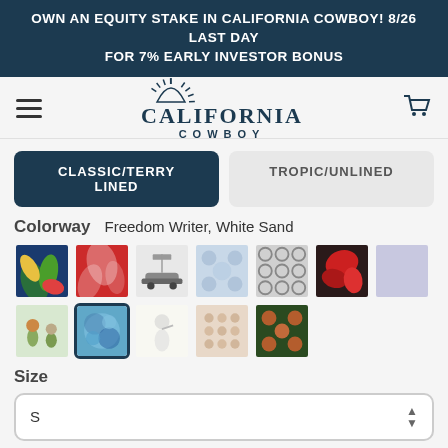OWN AN EQUITY STAKE IN CALIFORNIA COWBOY! 8/26 LAST DAY FOR 7% EARLY INVESTOR BONUS
[Figure (logo): California Cowboy brand logo with sunburst, stylized text and COWBOY subtitle]
CLASSIC/TERRY LINED
TROPIC/UNLINED
Colorway  Freedom Writer, White Sand
[Figure (other): Grid of fabric swatch color options, 7 in top row and 5 in bottom row, with one swatch selected (blue/teal tie-dye pattern)]
Size
S